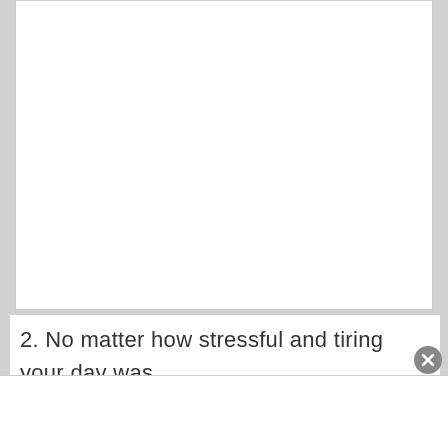[Figure (other): Blank white rectangular area representing an image placeholder]
2. No matter how stressful and tiring your day was, I pray that you have a relaxing and peaceful night sleep. Goodnight, handsome.